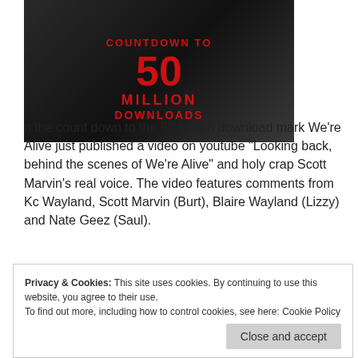[Figure (photo): Dark/black and white image with red text overlay reading 'COUNTDOWN TO 50 MILLION DOWNLOADS']
n the count down to the 50 Million download mark We’re Alive just published a video on youtube “Looking back, behind the scenes of We’re Alive” and holy crap Scott Marvin's real voice. The video features comments from Kc Wayland, Scott Marvin (Burt), Blaire Wayland (Lizzy) and Nate Geez (Saul).
Privacy & Cookies: This site uses cookies. By continuing to use this website, you agree to their use.
To find out more, including how to control cookies, see here: Cookie Policy
Close and accept